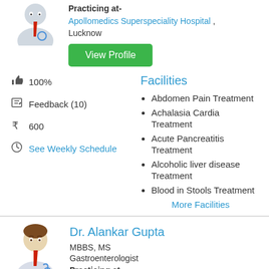Practicing at- Apollomedics Superspeciality Hospital , Lucknow
View Profile
100%
Feedback (10)
600
See Weekly Schedule
Facilities
Abdomen Pain Treatment
Achalasia Cardia Treatment
Acute Pancreatitis Treatment
Alcoholic liver disease Treatment
Blood in Stools Treatment
More Facilities
Dr. Alankar Gupta
MBBS, MS
Gastroenterologist
Practicing at- Asheerwad Hospital , Lucknow